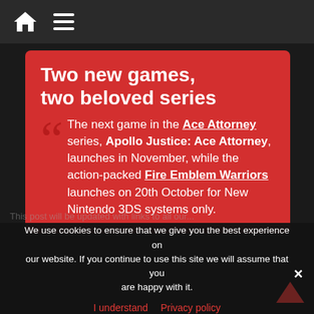Navigation bar with home and menu icons
Two new games, two beloved series
The next game in the Ace Attorney series, Apollo Justice: Ace Attorney, launches in November, while the action-packed Fire Emblem Warriors launches on 20th October for New Nintendo 3DS systems only.
This post will be updated with links to all our ...
We use cookies to ensure that we give you the best experience on our website. If you continue to use this site we will assume that you are happy with it.
I understand   Privacy policy